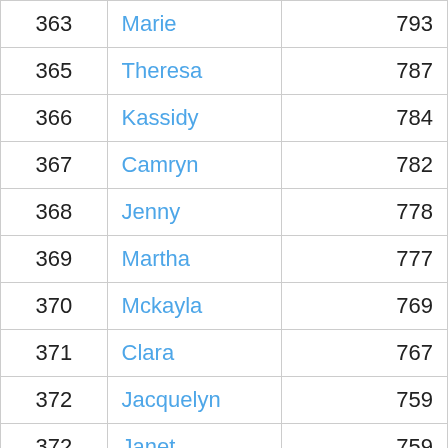| 363 | Marie | 793 |
| 365 | Theresa | 787 |
| 366 | Kassidy | 784 |
| 367 | Camryn | 782 |
| 368 | Jenny | 778 |
| 369 | Martha | 777 |
| 370 | Mckayla | 769 |
| 371 | Clara | 767 |
| 372 | Jacquelyn | 759 |
| 372 | Janet | 759 |
| 374 | Susan | 757 |